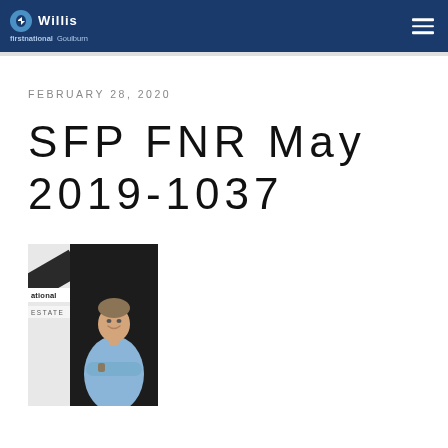Willis | firstnational Goulburn
FEBRUARY 28, 2020
SFP FNR May 2019-1037
[Figure (photo): Photo of a smiling man in a light blue shirt with arms crossed, standing in front of a First National Real Estate branded backdrop]